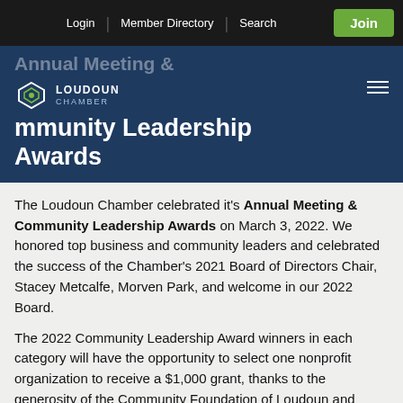Login | Member Directory | Search | Join
Annual Meeting & Community Leadership Awards
The Loudoun Chamber celebrated it's Annual Meeting & Community Leadership Awards on March 3, 2022. We honored top business and community leaders and celebrated the success of the Chamber's 2021 Board of Directors Chair, Stacey Metcalfe, Morven Park, and welcome in our 2022 Board.
The 2022 Community Leadership Award winners in each category will have the opportunity to select one nonprofit organization to receive a $1,000 grant, thanks to the generosity of the Community Foundation of Loudoun and Northern Fauquier Counties.
Learn More